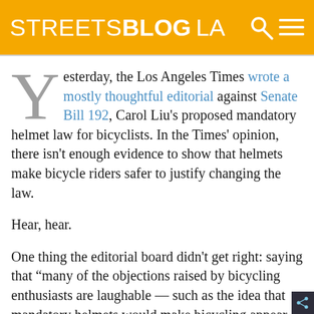STREETSBLOG LA
Yesterday, the Los Angeles Times wrote a mostly thoughtful editorial against Senate Bill 192, Carol Liu's proposed mandatory helmet law for bicyclists. In the Times' opinion, there isn't enough evidence to show that helmets make bicycle riders safer to justify changing the law.
Hear, hear.
One thing the editorial board didn't get right: saying that “many of the objections raised by bicycling enthusiasts are laughable — such as the idea that mandatory helmets would make bicycling appear more dangerous and thus discourage people from trying it.”